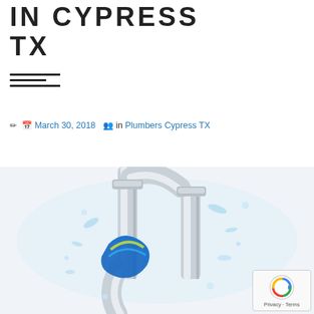IN CYPRESS TX
[Figure (other): Hamburger menu icon with three horizontal lines]
✏ 📅 March 30, 2018  👥 in Plumbers Cypress TX
[Figure (photo): Photo of chrome plumbing pipes in a U-trap shape with water splashing and a blue cloth/rag wrapped around the pipe, against a white background]